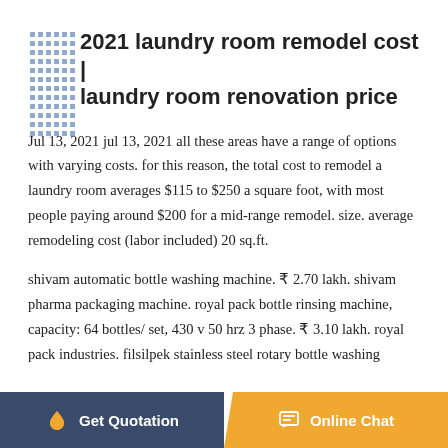2021 laundry room remodel cost | laundry room renovation price
Jul 13, 2021 jul 13, 2021 all these areas have a range of options with varying costs. for this reason, the total cost to remodel a laundry room averages $115 to $250 a square foot, with most people paying around $200 for a mid-range remodel. size. average remodeling cost (labor included) 20 sq.ft.
shivam automatic bottle washing machine. ₹ 2.70 lakh. shivam pharma packaging machine. royal pack bottle rinsing machine, capacity: 64 bottles/ set, 430 v 50 hrz 3 phase. ₹ 3.10 lakh. royal pack industries. filsilpek stainless steel rotary bottle washing
Get Quotation    Online Chat